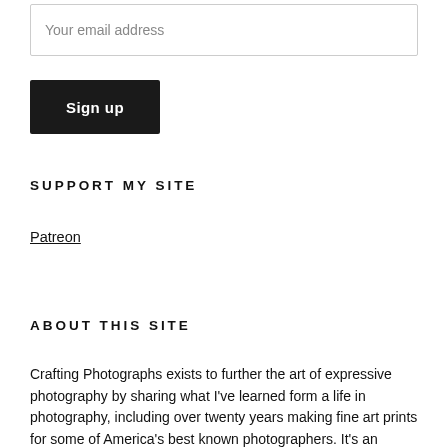Your email address
Sign up
SUPPORT MY SITE
Patreon
ABOUT THIS SITE
Crafting Photographs exists to further the art of expressive photography by sharing what I've learned form a life in photography, including over twenty years making fine art prints for some of America's best known photographers. It's an experiment, a work in progress